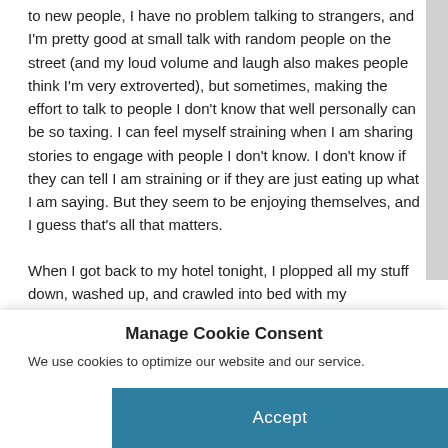to new people, I have no problem talking to strangers, and I'm pretty good at small talk with random people on the street (and my loud volume and laugh also makes people think I'm very extroverted), but sometimes, making the effort to talk to people I don't know that well personally can be so taxing. I can feel myself straining when I am sharing stories to engage with people I don't know. I don't know if they can tell I am straining or if they are just eating up what I am saying. But they seem to be enjoying themselves, and I guess that's all that matters.

When I got back to my hotel tonight, I plopped all my stuff down, washed up, and crawled into bed with my
Manage Cookie Consent
We use cookies to optimize our website and our service.
Accept